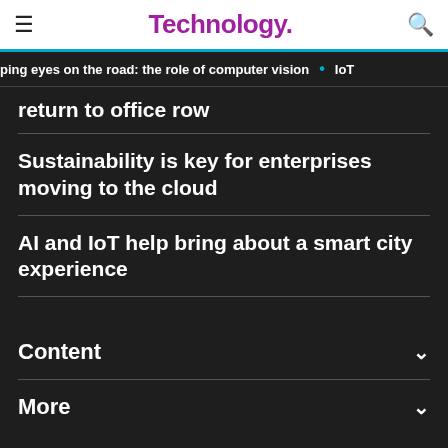Technology.
ping eyes on the road: the role of computer vision • IoT
return to office row
Sustainability is key for enterprises moving to the cloud
AI and IoT help bring about a smart city experience
Content
More